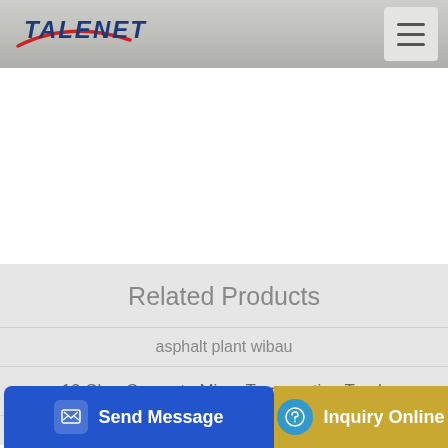TALENET
[Figure (logo): Talenet company logo with red swoosh and blue bold text]
Related Products
asphalt plant wibau
10 Cbm Concrete Mixer Transporting Truck
No ...d B. Co... Pumpin... i. Mou... Tr...
Send Message | Inquiry Online